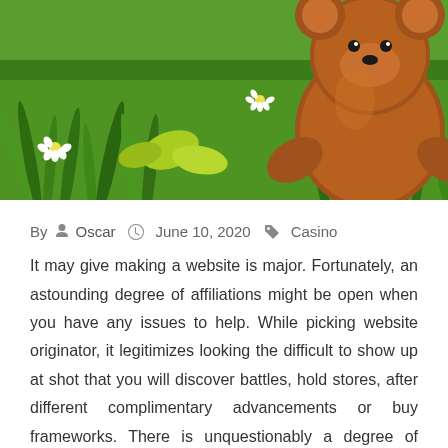[Figure (photo): A brown teddy bear lying in green grass with small white daisy flowers]
By  Oscar   June 10, 2020   Casino
It may give making a website is major. Fortunately, an astounding degree of affiliations might be open when you have any issues to help. While picking website originator, it legitimizes looking the difficult to show up at shot that you will discover battles, hold stores, after different complimentary advancements or buy frameworks. There is unquestionably a degree of things to check for that will connect with you to pick